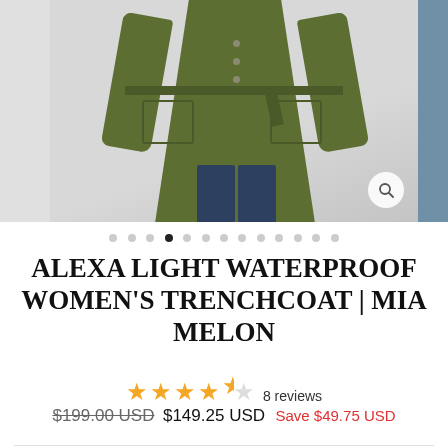[Figure (photo): Product photo of a woman wearing a green waterproof trench coat with belt, large pockets, and buttons, paired with dark jeans. Image carousel with multiple slides, zoom button visible.]
ALEXA LIGHT WATERPROOF WOMEN'S TRENCHCOAT | MIA MELON
★★★★☆ 8 reviews
$199.00 USD  $149.25 USD  Save $49.75 USD